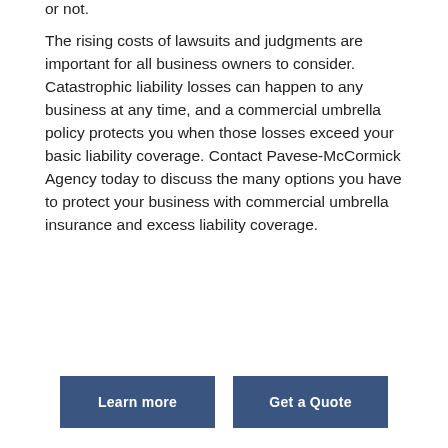or not.
The rising costs of lawsuits and judgments are important for all business owners to consider. Catastrophic liability losses can happen to any business at any time, and a commercial umbrella policy protects you when those losses exceed your basic liability coverage. Contact Pavese-McCormick Agency today to discuss the many options you have to protect your business with commercial umbrella insurance and excess liability coverage.
Learn more
Get a Quote